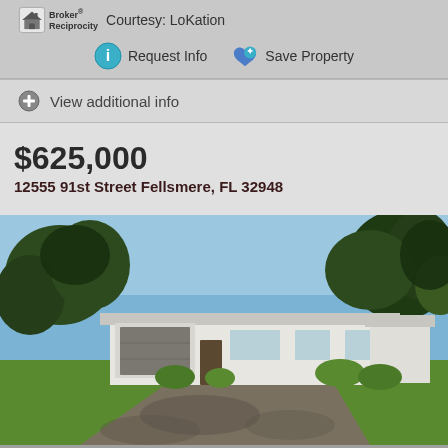Courtesy: LoKation
Request Info  Save Property
View additional info
$625,000
12555 91st Street Fellsmere, FL 32948
[Figure (photo): Exterior photo of a white single-story ranch-style house with garage, large driveway, green lawn, and trees in the background under a blue sky]